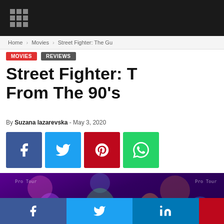indiegala — navigation bar with grid menu, logo, and search icon
Home › Movies › Street Fighter: The Gu
MOVIES  REVIEWS
Street Fighter: T… From The 90's
By Suzana lazarevska - May 3, 2020
[Figure (screenshot): Social share buttons: Facebook (blue), Twitter (light blue), Pinterest (red), WhatsApp (green)]
[Figure (screenshot): Street Fighter video game screenshot showing colorful fighting game characters on a purple-lit stage]
× MORE STORIES
[Figure (screenshot): Fallout Bombs Drop Day Sale + Free Play promotional banner featuring Vault Boy character riding a bomb]
Bombs Drop Day in Fall… Movie Recommendatio…
Suzana lazarevska - October 23, 202…
Bottom social sharing bar: Facebook, Twitter, LinkedIn, Pinterest, Reddit, Mix, WhatsApp, Share